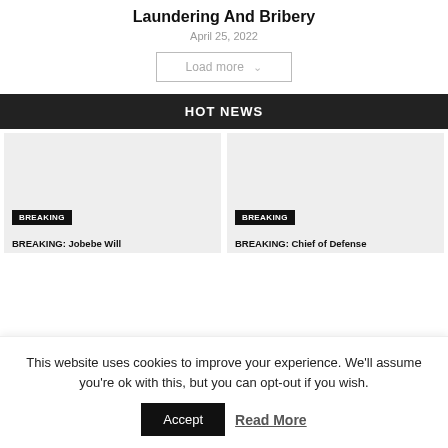Laundering And Bribery
April 25, 2022
Load more
HOT NEWS
[Figure (photo): Two news card image placeholders side by side, each with a BREAKING badge and partial headline text]
BREAKING: Jobebe Will
BREAKING: Chief of Defense
This website uses cookies to improve your experience. We'll assume you're ok with this, but you can opt-out if you wish.
Accept  Read More